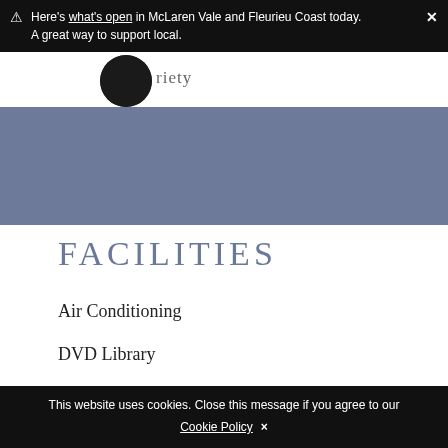Here's what's open in McLaren Vale and Fleurieu Coast today. A great way to support local.
[Figure (logo): Partial circular logo with text partially visible]
[Figure (other): Blue-grey banner/header strip]
FACILITIES
Air Conditioning
DVD Library
Microwave
This website uses cookies. Close this message if you agree to our Cookie Policy ×